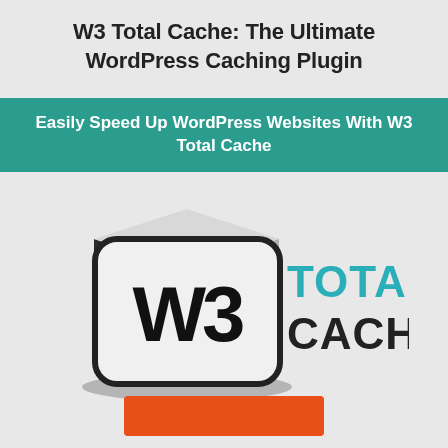W3 Total Cache: The Ultimate WordPress Caching Plugin
Easily Speed Up WordPress Websites With W3 Total Cache
[Figure (logo): W3 Total Cache logo: a 3D white rounded-corner cube with 'W3' text on the front face in bold black, with a dark shadow/base, beside bold teal text reading 'TOTAL CACHE']